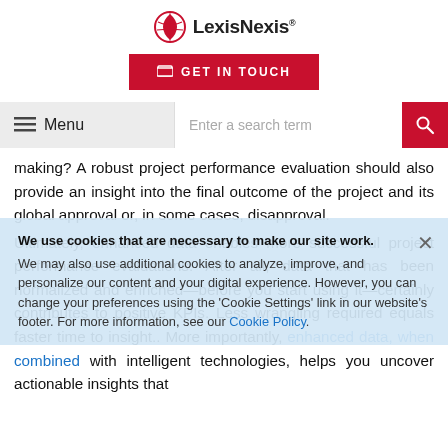LexisNexis
[Figure (logo): LexisNexis logo with red globe icon and company name]
GET IN TOUCH button
Menu | Enter a search term | Search button
making? A robust project performance evaluation should also provide an insight into the final outcome of the project and its global approval or, in some cases, disapproval.
Ultimately, enhanced data enables more successful project performance evaluations. After all, data that has been normalized and enriched—before you start using it—certainly contributes to positive KPIs. Less wrangling required equals faster time to insight.. More importantly, enhanced data, when combined with intelligent technologies, helps you uncover actionable insights that
We use cookies that are necessary to make our site work. We may also use additional cookies to analyze, improve, and personalize our content and your digital experience. However, you can change your preferences using the 'Cookie Settings' link in our website's footer. For more information, see our Cookie Policy.